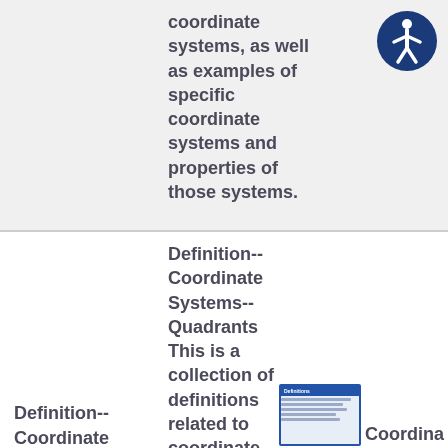coordinate systems, as well as examples of specific coordinate systems and properties of those systems.
[Figure (illustration): Accessibility icon: white person figure on dark blue circle background]
Definition-- Coordinate Systems-- Quadrants This is a collection of definitions related to coordinate systems and related topics.
Definition-- Coordinate
[Figure (screenshot): Small thumbnail of a Definitions document card with blue header and lines of text]
Coordina